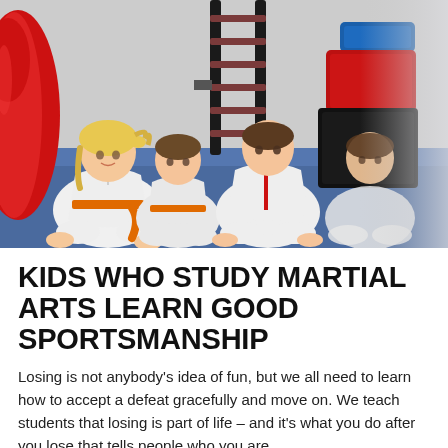[Figure (photo): Four young children in white karate gi uniforms with orange belts sitting cross-legged on a blue mat in a martial arts dojo. Background shows a red punching bag on the left, a wooden ladder rack in the center-back, and red/blue padding on the right wall.]
KIDS WHO STUDY MARTIAL ARTS LEARN GOOD SPORTSMANSHIP
Losing is not anybody's idea of fun, but we all need to learn how to accept a defeat gracefully and move on. We teach students that losing is part of life – and it's what you do after you lose that tells people who you are.